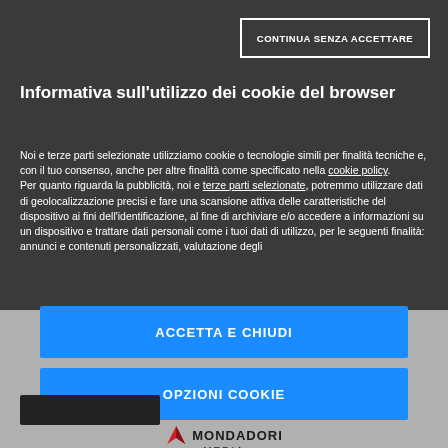CONTINUA SENZA ACCETTARE
Informativa sull'utilizzo dei cookie del browser
Noi e terze parti selezionate utilizziamo cookie o tecnologie simili per finalità tecniche e, con il tuo consenso, anche per altre finalità come specificato nella cookie policy.
Per quanto riguarda la pubblicità, noi e terze parti selezionate, potremmo utilizzare dati di geolocalizzazione precisi e fare una scansione attiva delle caratteristiche del dispositivo ai fini dell'identificazione, al fine di archiviare e/o accedere a informazioni su un dispositivo e trattare dati personali come i tuoi dati di utilizzo, per le seguenti finalità: annunci e contenuti personalizzati, valutazione degli
ACCETTA E CHIUDI
OPZIONI COOKIE
[Figure (logo): Mondadori Media logo with red arrow/M icon and text MONDADORI MEDIA]